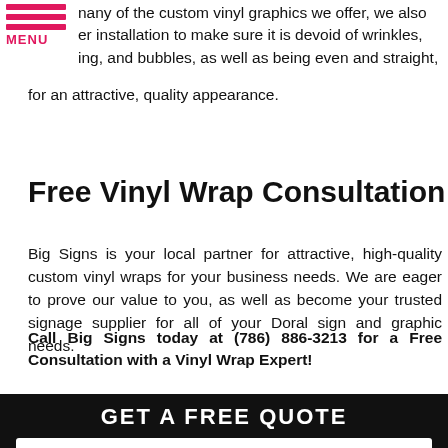[Figure (other): hamburger menu icon with three pink horizontal bars and pink MENU label below]
nany of the custom vinyl graphics we offer, we also er installation to make sure it is devoid of wrinkles, ing, and bubbles, as well as being even and straight, for an attractive, quality appearance.
Free Vinyl Wrap Consultation
Big Signs is your local partner for attractive, high-quality custom vinyl wraps for your business needs. We are eager to prove our value to you, as well as become your trusted signage supplier for all of your Doral sign and graphic needs.
Call Big Signs today at (786) 886-3213 for a Free Consultation with a Vinyl Wrap Expert!
GET A FREE QUOTE
Full Name
Best Phone